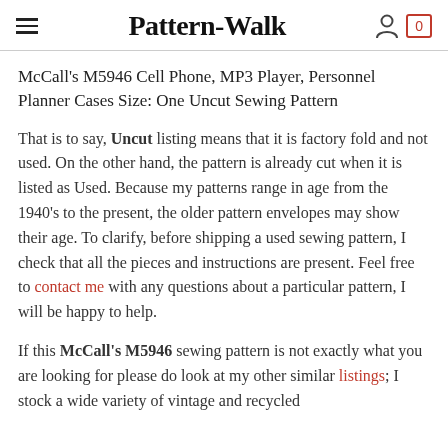Pattern-Walk
McCall's M5946 Cell Phone, MP3 Player, Personnel Planner Cases Size: One Uncut Sewing Pattern
That is to say, Uncut listing means that it is factory fold and not used. On the other hand, the pattern is already cut when it is listed as Used. Because my patterns range in age from the 1940's to the present, the older pattern envelopes may show their age. To clarify, before shipping a used sewing pattern, I check that all the pieces and instructions are present. Feel free to contact me with any questions about a particular pattern, I will be happy to help.
If this McCall's M5946 sewing pattern is not exactly what you are looking for please do look at my other similar listings; I stock a wide variety of vintage and recycled